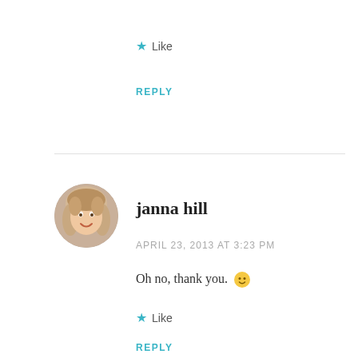★ Like
REPLY
[Figure (photo): Circular avatar photo of janna hill, a smiling blonde woman]
janna hill
APRIL 23, 2013 AT 3:23 PM
Oh no, thank you. 🙂
★ Like
REPLY
Pingback: How's That By Workin' for Ya? | janna hill